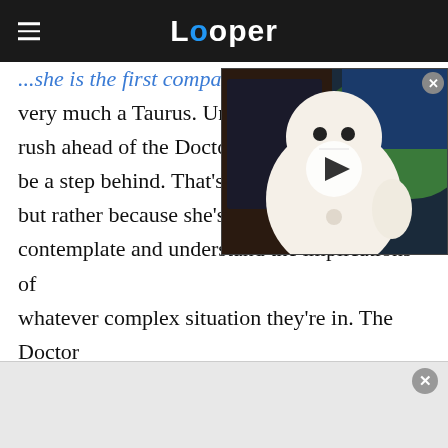Looper
[Figure (screenshot): Video thumbnail showing Baymax character from Big Hero 6 with a play button overlay, on a dark background with foliage]
...she is the first companion of the Academy, is very much a Taurus. Unlike s[he doesn't] rush ahead of the Doctor, C[hose to] be a step behind. That's not[...] but rather because she's ta[king time to] contemplate and understand the implications of whatever complex situation they're in. The Doctor occasionally accuses her of being a control freak, and under the influence of a truth field she even admits it herself. However, she still makes a great [companion]...